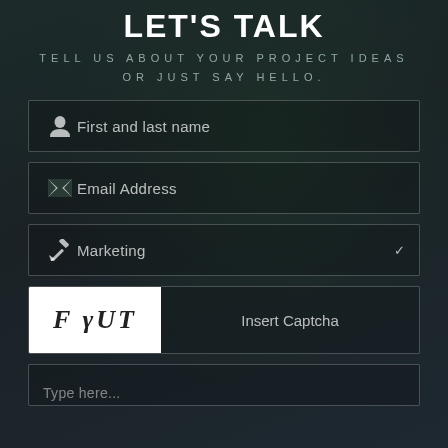LET'S TALK
TELL US ABOUT YOUR PROJECT IDEAS OR JUST SAY HELLO.
First and last name
Email Address
Marketing
[Figure (other): CAPTCHA image showing distorted text: F γUT]
Insert Captcha
Type here...